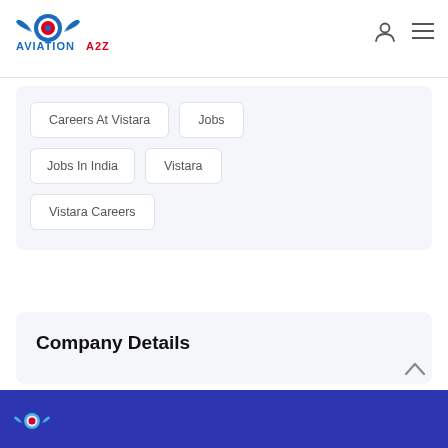[Figure (logo): Aviation A2Z logo with wings and red circle, blue text 'AVIATION A2Z']
Careers At Vistara
Jobs
Jobs In India
Vistara
Vistara Careers
Company Details
[Figure (logo): Aviation A2Z footer logo (partially visible, white on blue background)]